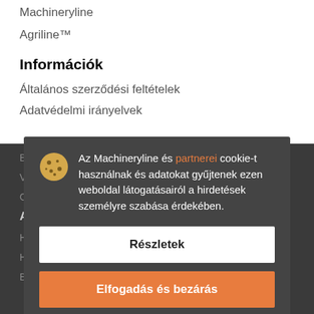Machineryline
Agriline™
Információk
Általános szerződési feltételek
Adatvédelmi irányelvek
Biztonsági tippek
Válasszon régiót
Oldaltérkép
Ajánlataink
Hirdetés az Machineryline-n
Hirdetés
Bánner elhelyezése
Az Machineryline és partnerei cookie-t használnak és adatokat gyűjtenek ezen weboldal látogatásairól a hirdetések személyre szabása érdekében.
Részletek
Elfogadás és bezárás